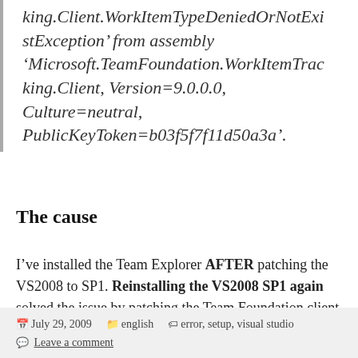king.Client.WorkItemTypeDeniedOrNotExistException' from assembly 'Microsoft.TeamFoundation.WorkItemTracking.Client, Version=9.0.0.0, Culture=neutral, PublicKeyToken=b03f5f7f11d50a3a'.
The cause
I've installed the Team Explorer AFTER patching the VS2008 to SP1. Reinstalling the VS2008 SP1 again solved the issue by patching the Team Foundation client binaries, too.
July 29, 2009   english   error, setup, visual studio
Leave a comment